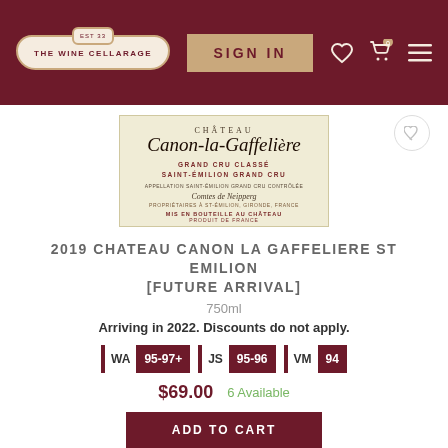THE WINE CELLARAGE — SIGN IN — Navigation
[Figure (photo): Chateau Canon-la-Gaffeliere wine bottle label: cream/ivory background with Gothic script name, coat of arms crest, Grand Cru Classé Saint-Émilion Grand Cru text, Comtes de Neipperg, 12.5% vol, 75cl]
2019 CHATEAU CANON LA GAFFELIERE ST EMILION [FUTURE ARRIVAL]
750ml
Arriving in 2022. Discounts do not apply.
WA 95-97+  JS 95-96  VM 94
$69.00  6 Available